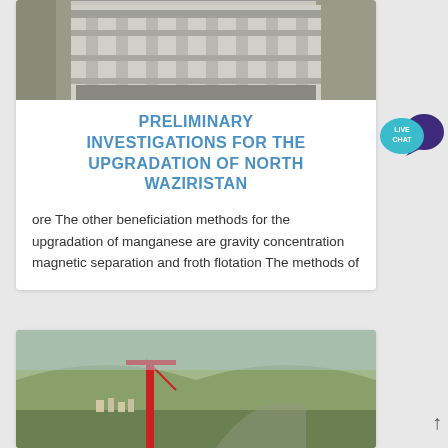[Figure (photo): Construction site photo showing concrete pillars and structure under construction]
PRELIMINARY INVESTIGATIONS FOR THE UPGRADATION OF NORTH WAZIRISTAN
ore The other beneficiation methods for the upgradation of manganese are gravity concentration magnetic separation and froth flotation The methods of
[Figure (photo): Aerial or landscape photo of a mountainous/hilly area with a red crane and urban development visible]